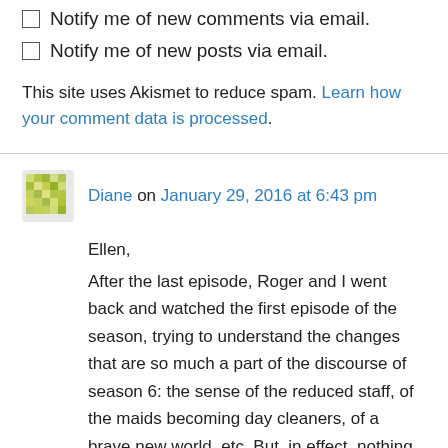Notify me of new comments via email.
Notify me of new posts via email.
This site uses Akismet to reduce spam. Learn how your comment data is processed.
Diane on January 29, 2016 at 6:43 pm
Ellen,
After the last episode, Roger and I went back and watched the first episode of the season, trying to understand the changes that are so much a part of the discourse of season 6: the sense of the reduced staff, of the maids becoming day cleaners, of a brave new world, etc. But, in effect, nothing has changed! (Yes,as